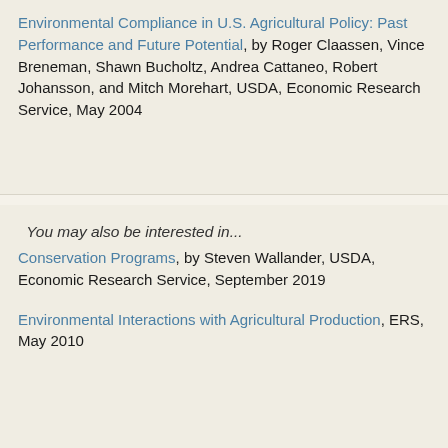Environmental Compliance in U.S. Agricultural Policy: Past Performance and Future Potential, by Roger Claassen, Vince Breneman, Shawn Bucholtz, Andrea Cattaneo, Robert Johansson, and Mitch Morehart, USDA, Economic Research Service, May 2004
You may also be interested in...
Conservation Programs, by Steven Wallander, USDA, Economic Research Service, September 2019
Environmental Interactions with Agricultural Production, ERS, May 2010